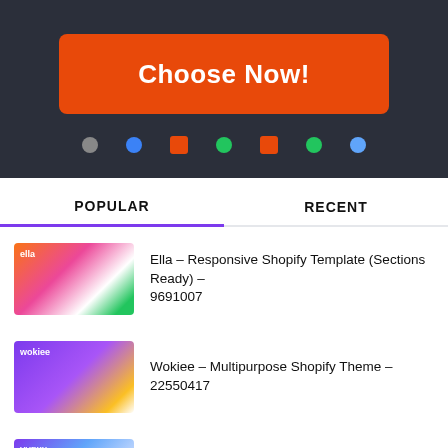[Figure (screenshot): Dark background banner with orange 'Choose Now!' button and colored navigation dots below]
POPULAR
RECENT
Ella – Responsive Shopify Template (Sections Ready) – 9691007
Wokiee – Multipurpose Shopify Theme – 22550417
Vuexy – Vuejs, React, Angular, HTML & Laravel Dashboard Template – 23328599